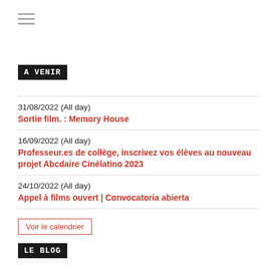[Figure (other): Hamburger menu icon (three horizontal lines)]
A VENIR
31/08/2022 (All day)
Sortie film. : Memory House
16/09/2022 (All day)
Professeur.es de collège, inscrivez vos élèves au nouveau projet Abcdaire Cinélatino 2023
24/10/2022 (All day)
Appel à films ouvert | Convocatoria abierta
Voir le calendrier
LE BLOG